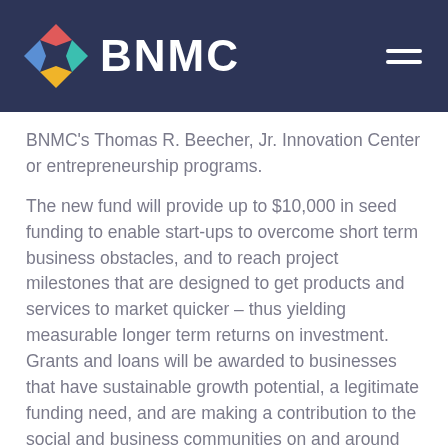BNMC
BNMC's Thomas R. Beecher, Jr. Innovation Center or entrepreneurship programs.
The new fund will provide up to $10,000 in seed funding to enable start-ups to overcome short term business obstacles, and to reach project milestones that are designed to get products and services to market quicker – thus yielding measurable longer term returns on investment.  Grants and loans will be awarded to businesses that have sustainable growth potential, a legitimate funding need, and are making a contribution to the social and business communities on and around the Medical Campus.